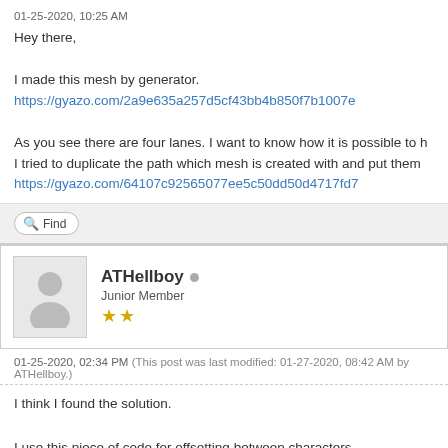01-25-2020, 10:25 AM
Hey there,

I made this mesh by generator.
https://gyazo.com/2a9e635a257d5cf43bb4b850f7b1007e

As you see there are four lanes. I want to know how it is possible to h
I tried to duplicate the path which mesh is created with and put them
https://gyazo.com/64107c92565077ee5c50dd50d4717fd7
Find
ATHellboy
Junior Member
01-25-2020, 02:34 PM (This post was last modified: 01-27-2020, 08:42 AM by ATHellboy.)
I think I found the solution.

I use this piece of code for offsetting between characters.